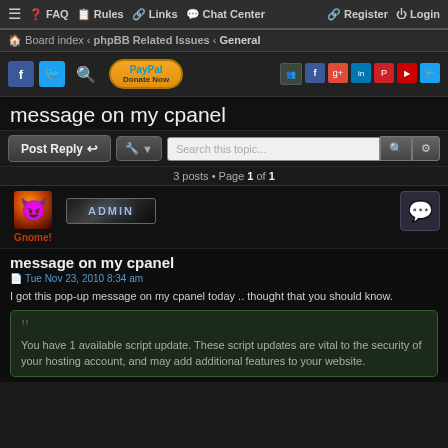≡ FAQ Rules Links Chat Center  Register Login
Board index ‹ phpBB Related Issues ‹ General
message on my cpanel
3 posts • Page 1 of 1
Gnome! — Admin
message on my cpanel
Tue Nov 23, 2010 8:34 am
I got this pop-up message on my cpanel today .. thought that you should know.
You have 1 available script update. These script updates are vital to the security of your hosting account, and may add additional features to your website.